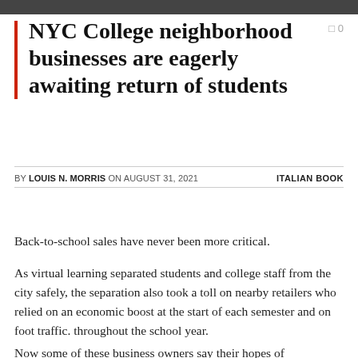[Figure (photo): Narrow horizontal image bar at top of page, appears to be a cropped photo]
NYC College neighborhood businesses are eagerly awaiting return of students
BY LOUIS N. MORRIS ON AUGUST 31, 2021    ITALIAN BOOK
Back-to-school sales have never been more critical.
As virtual learning separated students and college staff from the city safely, the separation also took a toll on nearby retailers who relied on an economic boost at the start of each semester and on foot traffic. throughout the school year.
Now some of these business owners say their hopes of recovering from the pandemic with the money fromfficiated